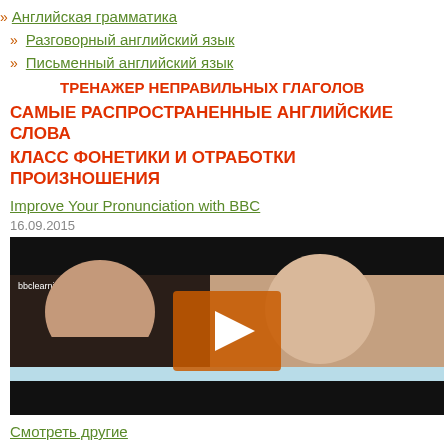» Английская грамматика
» Разговорный английский язык
» Письменный английский язык
ТРЕНАЖЕР НЕПРАВИЛЬНЫХ ГЛАГОЛОВ
САМЫЕ РАСПРОСТРАНЕННЫЕ АНГЛИЙСКИЕ СЛОВА
КЛАСС ФОНЕТИКИ И ОТРАБОТКИ ПРОИЗНОШЕНИЯ
Improve Your Pronunciation with BBC
16.09.2015
[Figure (screenshot): Video thumbnail showing two people's faces with a play button overlay, labeled bbclearningenglish.com]
Смотреть другие
ОБЗОР ПРОГРАММ И КУРСОВ ПО ИЗУЧЕНИЮ